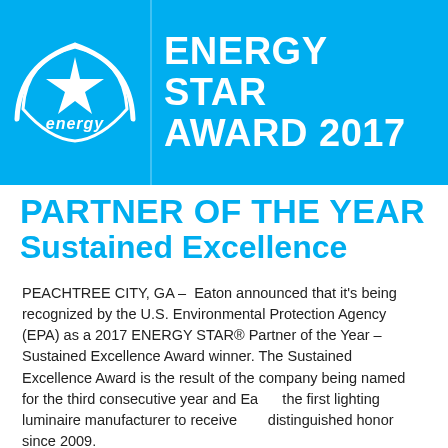[Figure (logo): ENERGY STAR Award 2017 logo banner in blue with white Energy Star logo on left and text 'ENERGY STAR AWARD 2017' on right]
PARTNER OF THE YEAR Sustained Excellence
PEACHTREE CITY, GA – Eaton announced that it's being recognized by the U.S. Environmental Protection Agency (EPA) as a 2017 ENERGY STAR® Partner of the Year – Sustained Excellence Award winner. The Sustained Excellence Award is the result of the company being named for the third consecutive year and Eaton the first lighting luminaire manufacturer to receive this distinguished honor since 2009.